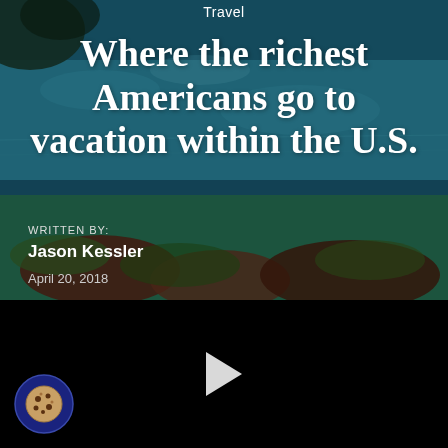[Figure (photo): Aerial view of clear teal-blue ocean water with rocks and vegetation visible, used as article header background image.]
Travel
Where the richest Americans go to vacation within the U.S.
WRITTEN BY:
Jason Kessler
April 20, 2018
[Figure (other): Black video player area with a white play button triangle in the center.]
[Figure (logo): Cookie consent icon — circular dark blue badge with a cookie graphic and small circles.]